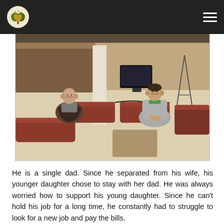[Figure (photo): Two people sitting cross-legged on the floor in a large room. One person on the left wears a gray top and dark brown/black robe or vest, and the other on the right wears a gray tracksuit with a green collar. The room has brown leather meditation cushions/benches arranged on a pale floor, with audio-visual equipment and furniture in the background.]
He is a single dad. Since he separated from his wife, his younger daughter chose to stay with her dad. He was always worried how to support his young daughter. Since he can't hold his job for a long time, he constantly had to struggle to look for a new job and pay the bills.